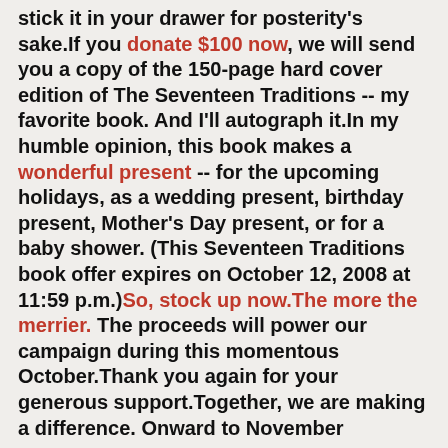stick it in your drawer for posterity's sake.If you donate $100 now, we will send you a copy of the 150-page hard cover edition of The Seventeen Traditions -- my favorite book. And I'll autograph it.In my humble opinion, this book makes a wonderful present -- for the upcoming holidays, as a wedding present, birthday present, Mother's Day present, or for a baby shower. (This Seventeen Traditions book offer expires on October 12, 2008 at 11:59 p.m.)So, stock up now.The more the merrier. The proceeds will power our campaign during this momentous October.Thank you again for your generous support.Together, we are making a difference. Onward to November
Thursday night, Governor Sarah Palin and Senator Joe Biden debated. The John McCain - Sarah Palin campaign issued this statement regarding the debate:
Statement From Communications Director Jill Hazelbaker
ARLINGTON, VA -- McCain-Palin 2008 Communications Director Jill Hazelbaker issued the following statement